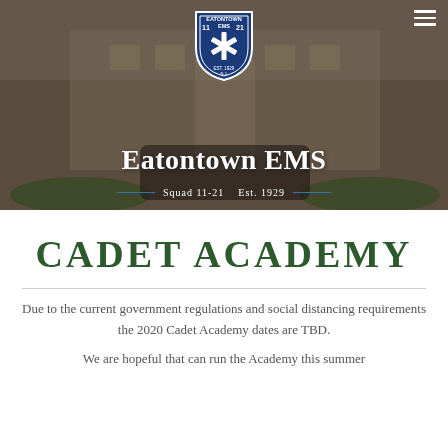[Figure (photo): Hero banner showing Eatontown EMS building with group of people in foreground, overlaid with EMS shield logo, organization name, and subtitle.]
CADET ACADEMY
Due to the current government regulations and social distancing requirements the 2020 Cadet Academy dates are TBD.
We are hopeful that can run the Academy this summer